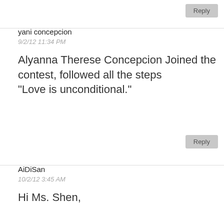Reply
yani concepcion
9/2/12 11:34 PM
Alyanna Therese Concepcion Joined the contest, followed all the steps
"Love is unconditional."
Reply
AiDiSan
10/2/12 3:45 AM
Hi Ms. Shen,